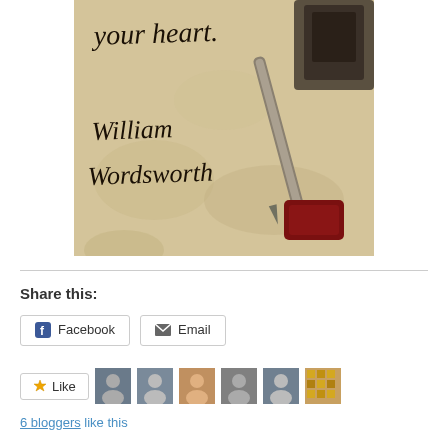[Figure (photo): Aged parchment paper with handwritten cursive text reading 'your heart.' and 'William Wordsworth', with a fountain pen and inkwell visible on the right side]
Share this:
Facebook   Email
Like   [6 avatar thumbnails of bloggers]
6 bloggers like this